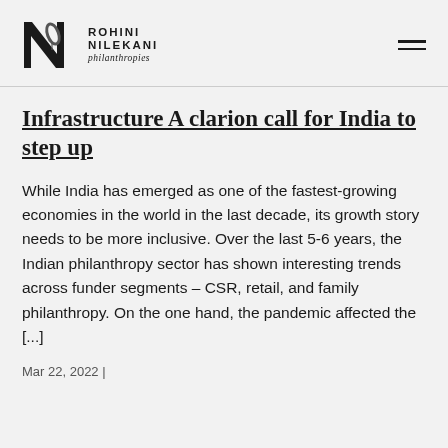[Figure (logo): Rohini Nilekani Philanthropies logo with stylized N and leaf, plus organization name text]
Infrastructure A clarion call for India to step up
While India has emerged as one of the fastest-growing economies in the world in the last decade, its growth story needs to be more inclusive. Over the last 5-6 years, the Indian philanthropy sector has shown interesting trends across funder segments – CSR, retail, and family philanthropy. On the one hand, the pandemic affected the [...]
Mar 22, 2022 |